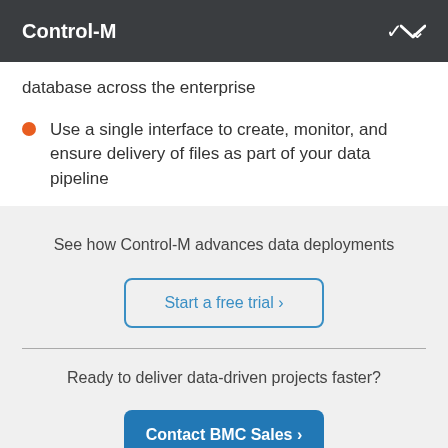Control-M
database across the enterprise
Use a single interface to create, monitor, and ensure delivery of files as part of your data pipeline
See how Control-M advances data deployments
Start a free trial ›
Ready to deliver data-driven projects faster?
Contact BMC Sales ›